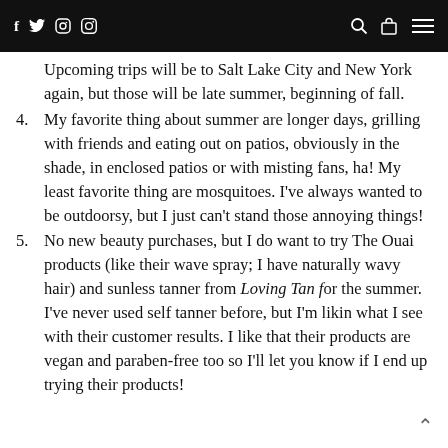f  twitter  instagram  pinterest  [search] [bag] [menu]
Upcoming trips will be to Salt Lake City and New York again, but those will be late summer, beginning of fall.
4. My favorite thing about summer are longer days, grilling with friends and eating out on patios, obviously in the shade, in enclosed patios or with misting fans, ha! My least favorite thing are mosquitoes. I've always wanted to be outdoorsy, but I just can't stand those annoying things!
5. No new beauty purchases, but I do want to try The Ouai products (like their wave spray; I have naturally wavy hair) and sunless tanner from Loving Tan for the summer. I've never used self tanner before, but I'm likin what I see with their customer results. I like that their products are vegan and paraben-free too so I'll let you know if I end up trying their products!